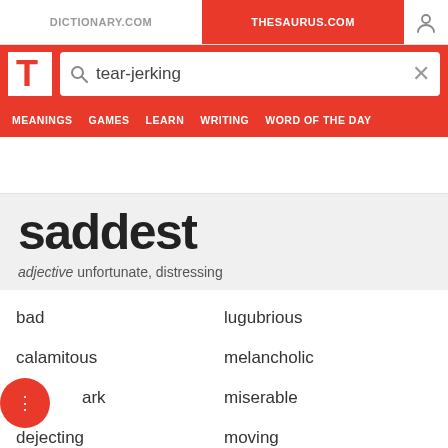DICTIONARY.COM | THESAURUS.COM
[Figure (screenshot): Search bar with logo and search term 'tear-jerking']
MEANINGS  GAMES  LEARN  WRITING  WORD OF THE DAY
saddest
adjective unfortunate, distressing
bad
lugubrious
calamitous
melancholic
dark
miserable
dejecting
moving